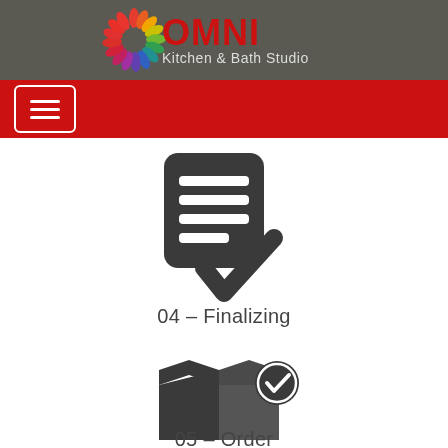[Figure (logo): OMNI Kitchen & Bath Studio logo with colorful leaf wreath circle and red OMNI text on dark gray background header]
[Figure (illustration): Hamburger menu icon: three horizontal white lines inside a white-bordered rounded rectangle, on red background bar]
[Figure (illustration): Document with checkmark icon in dark gray: rounded rectangle document with horizontal lines and a checkmark, representing step 04 Finalizing]
04 – Finalizing
[Figure (illustration): Package delivery with checkmark icon in dark gray: shipping box with check badge, representing step 05 Order]
05 – Order